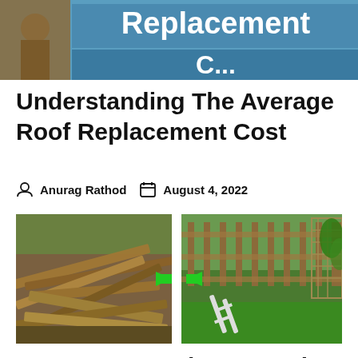[Figure (photo): Top banner image showing a person on a roof with text 'Replacement' visible on a sign]
Understanding The Average Roof Replacement Cost
Anurag Rathod  August 4, 2022
[Figure (photo): Before and after comparison image showing a pile of wooden planks/junk on the left and a clean garden with wooden fence on the right, connected by a green double-headed arrow]
Know How Junk Removal Service